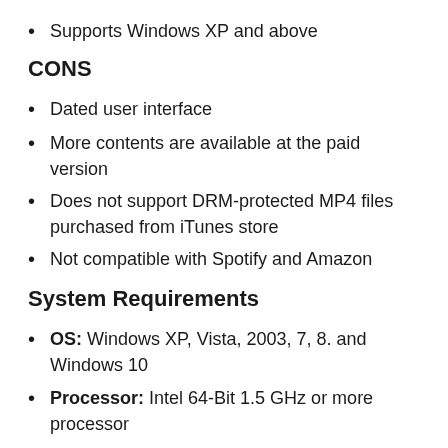Supports Windows XP and above
CONS
Dated user interface
More contents are available at the paid version
Does not support DRM-protected MP4 files purchased from iTunes store
Not compatible with Spotify and Amazon
System Requirements
OS: Windows XP, Vista, 2003, 7, 8. and Windows 10
Processor: Intel 64-Bit 1.5 GHz or more processor